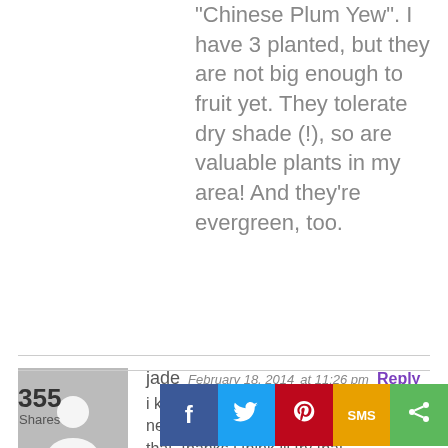“Chinese Plum Yew”. I have 3 planted, but they are not big enough to fruit yet. They tolerate dry shade (!), so are valuable plants in my area! And they’re evergreen, too.
[Figure (photo): Grey avatar placeholder image showing silhouette of a person]
jade  February 18, 2014  at  11:26 pm  Reply
i knew that you could eat douglas fir needles but i didnt know you could do that. thanks i think ill try that.
355 Shares